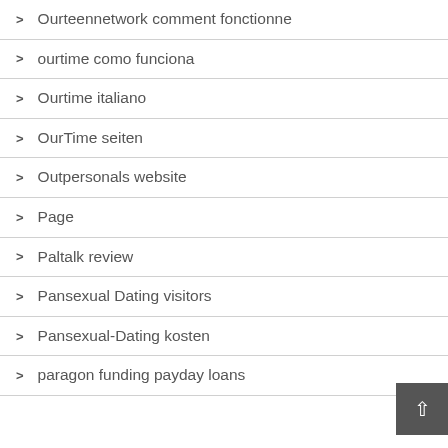Ourteennetwork comment fonctionne
ourtime como funciona
Ourtime italiano
OurTime seiten
Outpersonals website
Page
Paltalk review
Pansexual Dating visitors
Pansexual-Dating kosten
paragon funding payday loans